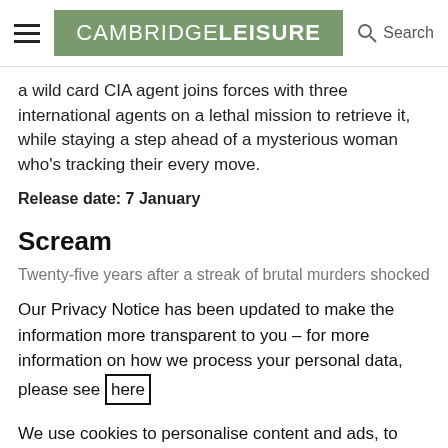CAMBRIDGE LEISURE
a wild card CIA agent joins forces with three international agents on a lethal mission to retrieve it, while staying a step ahead of a mysterious woman who's tracking their every move.
Release date: 7 January
Scream
Twenty-five years after a streak of brutal murders shocked the quiet town of Woodsboro, a new killer has
Our Privacy Notice has been updated to make the information more transparent to you – for more information on how we process your personal data, please see here
We use cookies to personalise content and ads, to provide social media features and to analyse our traffic. We also share